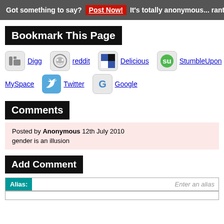Got something to say? Post Now! It's totally anonymous... rant o
Bookmark This Page
[Figure (other): Social bookmarking icons and links: Digg, reddit, Delicious, StumbleUpon, Facebook (partial), MySpace, Twitter, Google]
Comments
Posted by Anonymous 12th July 2010
gender is an illusion
Add Comment
Alias:   Enter an alias